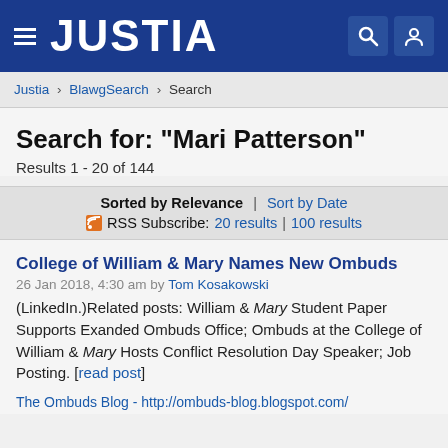JUSTIA
Justia › BlawgSearch › Search
Search for: "Mari Patterson"
Results 1 - 20 of 144
Sorted by Relevance | Sort by Date
RSS Subscribe: 20 results | 100 results
College of William & Mary Names New Ombuds
26 Jan 2018, 4:30 am by Tom Kosakowski
(LinkedIn.)Related posts: William & Mary Student Paper Supports Exanded Ombuds Office; Ombuds at the College of William & Mary Hosts Conflict Resolution Day Speaker; Job Posting. [read post]
The Ombuds Blog - http://ombuds-blog.blogspot.com/